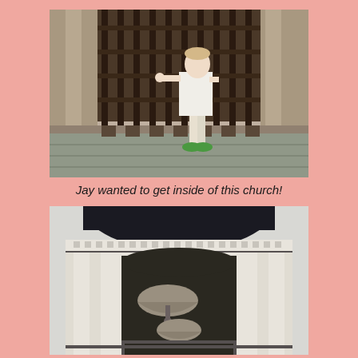[Figure (photo): A young man in white shirt and shorts with green sneakers standing at a large iron gate of a stone church]
Jay wanted to get inside of this church!
[Figure (photo): Close-up of a white church bell tower with a dark dome roof and two large bells visible inside the open arch]